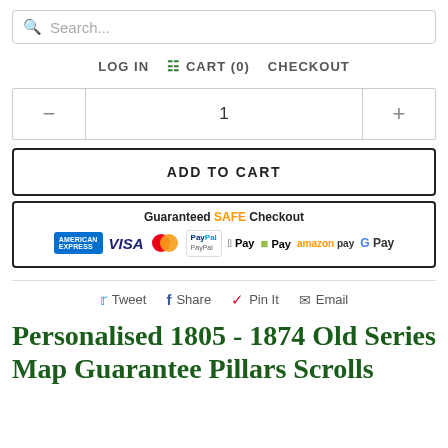[Figure (screenshot): Search bar with placeholder text 'Search...' and search icon]
LOG IN  CART (0)  CHECKOUT
[Figure (screenshot): Quantity selector with minus button, value 1, and plus button]
ADD TO CART
[Figure (screenshot): Guaranteed SAFE Checkout banner with payment icons: Amex, Visa, Mastercard, PayPal, Apple Pay, Shopify Pay, Amazon Pay, Google Pay]
Tweet  Share  Pin It  Email
Personalised 1805 - 1874 Old Series Map Guarantee Pillars Scrolls